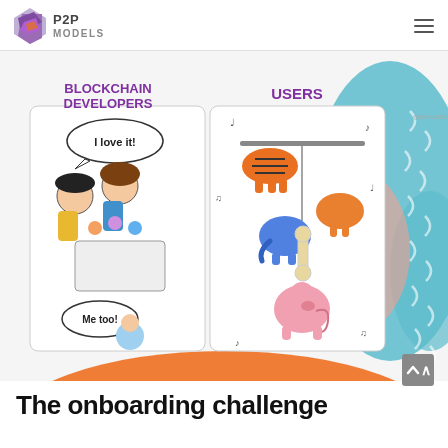P2P MODELS
[Figure (illustration): A humorous meme-style illustration comparing 'Blockchain Developers' (left panel: cartoon developers admiring a baby mobile crib with little animals, speech bubbles saying 'I love it!' and 'Me too!') vs 'USERS' (right panel: a baby mobile toy with colorful cartoon animals — tiger, elephant, cat, pig — hanging from it). The image has a teal/salmon decorative abstract background on the right side.]
The onboarding challenge